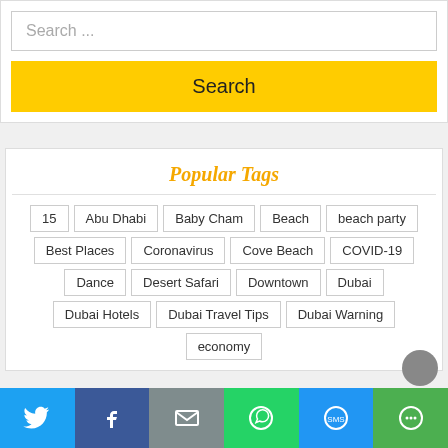Search ...
Search
Popular Tags
15
Abu Dhabi
Baby Cham
Beach
beach party
Best Places
Coronavirus
Cove Beach
COVID-19
Dance
Desert Safari
Downtown
Dubai
Dubai Hotels
Dubai Travel Tips
Dubai Warning
economy